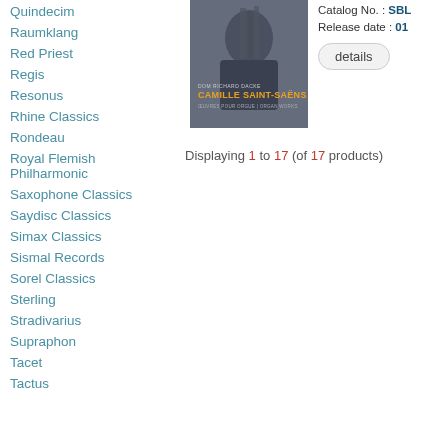Quindecim
Raumklang
Red Priest
Regis
Resonus
Rhine Classics
Rondeau
Royal Flemish Philharmonic
Saxophone Classics
Saydisc Classics
Simax Classics
Sismal Records
Sorel Classics
Sterling
Stradivarius
Supraphon
Tacet
Tactus
[Figure (photo): Album cover for Camille Saint-Saens organ works, featuring Don Richard Dacke]
Catalog No. : SBL
Release date : 01
details
Displaying 1 to 17 (of 17 products)